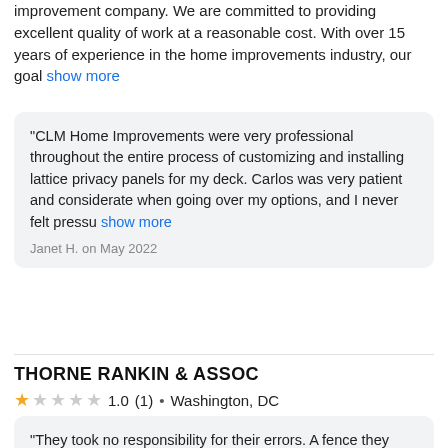improvement company. We are committed to providing excellent quality of work at a reasonable cost. With over 15 years of experience in the home improvements industry, our goal show more
"CLM Home Improvements were very professional throughout the entire process of customizing and installing lattice privacy panels for my deck. Carlos was very patient and considerate when going over my options, and I never felt pressu show more"

Janet H. on May 2022
THORNE RANKIN & ASSOC
1.0 (1) • Washington, DC
"They took no responsibility for their errors. A fence they oversaw was supposed to provide privacy. The fence ended up being built with large gaps that provided no privacy."

RALPH W. on October 2007